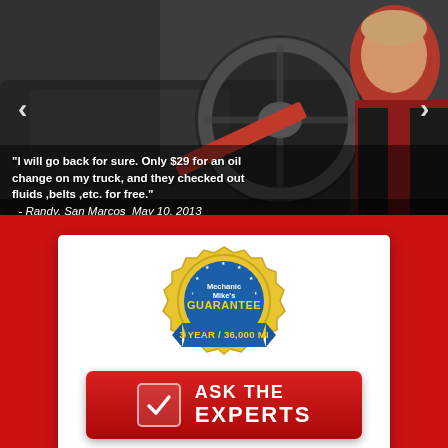[Figure (photo): Photo of a mechanic/person inside a car interior near the steering wheel, wearing a red and black outfit. Navigation arrows (< >) visible on both sides.]
"I will go back for sure. Only $29 for an oil change on my truck, and they checked out fluids ,belts ,etc. for free." - Randy, San Marcos  May 10, 2013
[Figure (logo): Mechanic Mike's Guarantee badge — gold seal with blue ribbon, reading '3 YEAR / 36,000 MI']
[Figure (infographic): Red button with checkmark icon and text 'ASK THE EXPERTS']